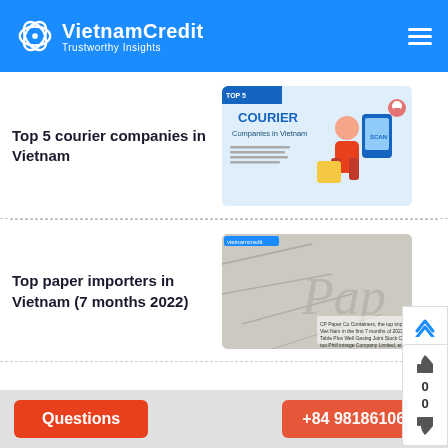VietnamCredit – Trustworthy Insights
Top 5 courier companies in Vietnam
[Figure (photo): Courier companies in Vietnam promotional image with a delivery person and QR code]
Top paper importers in Vietnam (7 months 2022)
[Figure (photo): Paper importers in Vietnam – crumpled paper texture background with text overlay]
Vietnam's plastic exports updates (7 months 2022)
[Figure (photo): Vietnam plastic exports – metallic plastic packaging image]
Questions   +84 981861066